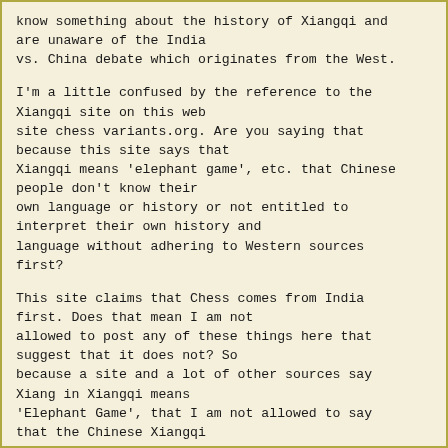know something about the history of Xiangqi and are unaware of the India vs. China debate which originates from the West.
I'm a little confused by the reference to the Xiangqi site on this web site chess variants.org. Are you saying that because this site says that Xiangqi means 'elephant game', etc. that Chinese people don't know their own language or history or not entitled to interpret their own history and language without adhering to Western sources first?
This site claims that Chess comes from India first. Does that mean I am not allowed to post any of these things here that suggest that it does not? So because a site and a lot of other sources say Xiang in Xiangqi means 'Elephant Game', that I am not allowed to say that the Chinese Xiangqi historians say it means 'Qi Xiang' and not 'Da